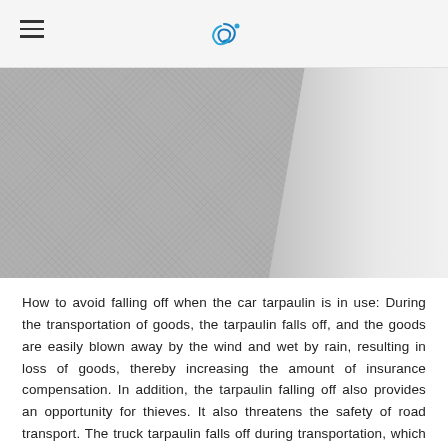[Navigation header with hamburger menu and logo]
[Figure (photo): Close-up photograph of a grey textured tarpaulin material, showing woven fabric texture on the left portion and a smooth diagonal fold revealing a plain grey surface on the right.]
How to avoid falling off when the car tarpaulin is in use: During the transportation of goods, the tarpaulin falls off, and the goods are easily blown away by the wind and wet by rain, resulting in loss of goods, thereby increasing the amount of insurance compensation. In addition, the tarpaulin falling off also provides an opportunity for thieves. It also threatens the safety of road transport. The truck tarpaulin falls off during transportation, which can easily cause accidents such as scratches on railway equipment and pedestrian injuries.
The shed tarpaulin will damage the road image to a certain extent, and more importantly, it will increase the trouble for cargo owners to choose other modes of transportation. During